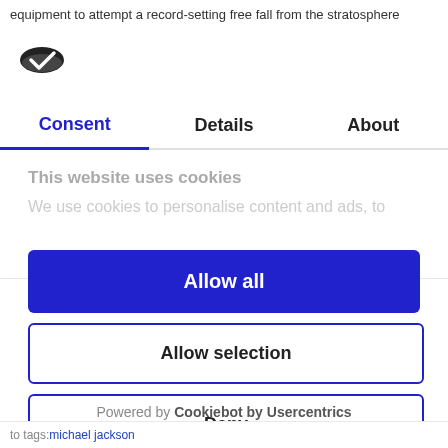equipment to attempt a record-setting free fall from the stratosphere
[Figure (logo): Cookiebot logo - dark oval with checkmark]
Consent | Details | About
This website uses cookies
We use cookies to personalise content and ads, to
Allow all
Allow selection
Deny
Powered by Cookiebot by Usercentrics
to tags: michael  jackson